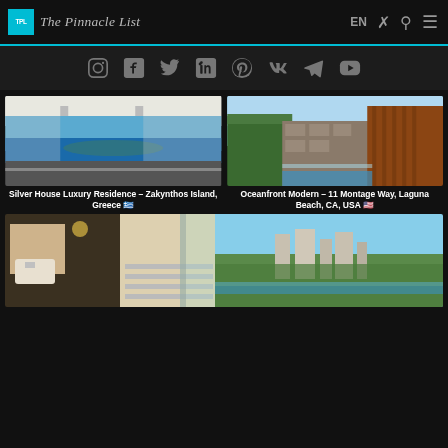The Pinnacle List — EN navigation header
[Figure (screenshot): Social media icons bar: Instagram, Facebook, Twitter, LinkedIn, Pinterest, VK, Telegram, YouTube]
[Figure (photo): Silver House Luxury Residence interior with ocean view, Zakynthos Island, Greece]
Silver House Luxury Residence – Zakynthos Island, Greece 🇬🇷
[Figure (photo): Oceanfront Modern house exterior with stone and wood cladding, pool, Laguna Beach CA USA]
Oceanfront Modern – 11 Montage Way, Laguna Beach, CA, USA 🇺🇸
[Figure (photo): Modern luxury home interior and exterior aerial view of Beverly Hills / Los Angeles skyline]